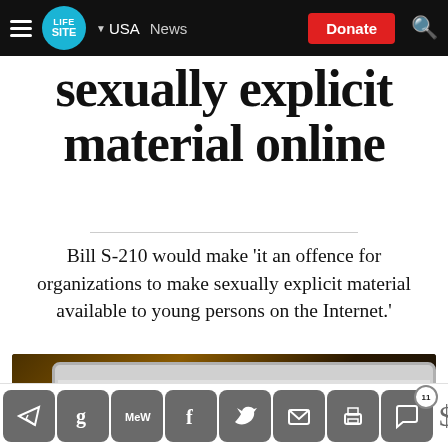LifeSite — USA News — Donate
sexually explicit material online
Bill S-210 would make 'it an offence for organizations to make sexually explicit material available to young persons on the Internet.'
[Figure (photo): A laptop screen showing a red WARNING text against black background]
Social share icons: Telegram, Gettr, MeWe, Facebook, Twitter, Email, Print, Comments (11), Donate